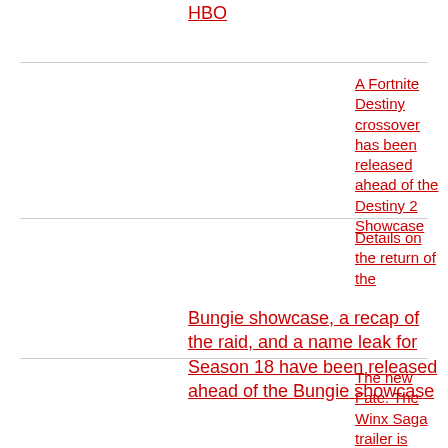HBO
A Fortnite Destiny crossover has been released ahead of the Destiny 2 Showcase
Details on the return of the Bungie showcase, a recap of the raid, and a name leak for Season 18 have been released ahead of the Bungie showcase
The new Fate: The Winx Saga trailer is brimming with mystery
The film and